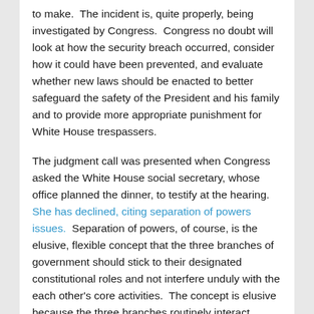to make.  The incident is, quite properly, being investigated by Congress.  Congress no doubt will look at how the security breach occurred, consider how it could have been prevented, and evaluate whether new laws should be enacted to better safeguard the safety of the President and his family and to provide more appropriate punishment for White House trespassers.
The judgment call was presented when Congress asked the White House social secretary, whose office planned the dinner, to testify at the hearing.  She has declined, citing separation of powers issues.  Separation of powers, of course, is the elusive, flexible concept that the three branches of government should stick to their designated constitutional roles and not interfere unduly with the each other's core activities.  The concept is elusive because the three branches routinely interact.  Congress, with the power of the purse strings and the power to independently investigate, often looks into how the executive branch and the courts function and writes budget and substantive legislation that directly affects the operations of its